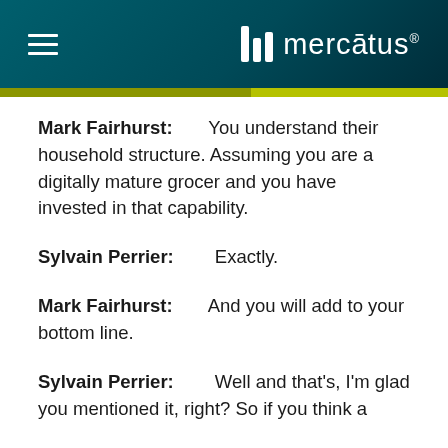mercātus
Mark Fairhurst:        You understand their household structure. Assuming you are a digitally mature grocer and you have invested in that capability.
Sylvain Perrier:        Exactly.
Mark Fairhurst:        And you will add to your bottom line.
Sylvain Perrier:        Well and that's, I'm glad you mentioned it, right? So if you think a